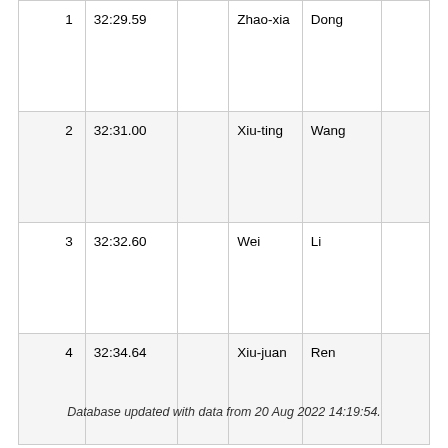| 1 | 32:29.59 |  | Zhao-xia | Dong |  |
| 2 | 32:31.00 |  | Xiu-ting | Wang |  |
| 3 | 32:32.60 |  | Wei | Li |  |
| 4 | 32:34.64 |  | Xiu-juan | Ren |  |
Database updated with data from 20 Aug 2022 14:19:54.